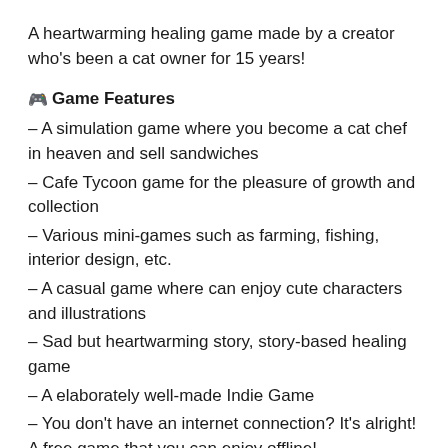A heartwarming healing game made by a creator who's been a cat owner for 15 years!
Game Features
– A simulation game where you become a cat chef in heaven and sell sandwiches
– Cafe Tycoon game for the pleasure of growth and collection
– Various mini-games such as farming, fishing, interior design, etc.
– A casual game where can enjoy cute characters and illustrations
– Sad but heartwarming story, story-based healing game
– A elaborately well-made Indie Game
– You don't have an internet connection? It's alright! A free game that you can enjoy offline!